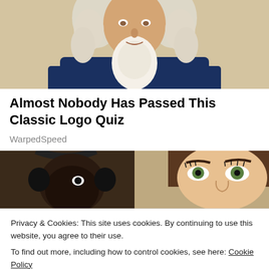[Figure (illustration): Illustrated portrait of a historical figure wearing a dark navy coat with white ruffled cravat and white powdered wig, cropped at torso level]
Almost Nobody Has Passed This Classic Logo Quiz
WarpedSpeed
[Figure (photo): Two faces close together: on the left, a dark-skinned person wearing headphones; on the right, a light-skinned woman with brown hair, showing just the upper portion of their faces]
Privacy & Cookies: This site uses cookies. By continuing to use this website, you agree to their use.
To find out more, including how to control cookies, see here: Cookie Policy
[Figure (photo): Bottom portion of another image showing a person in a blue uniform, partially visible]